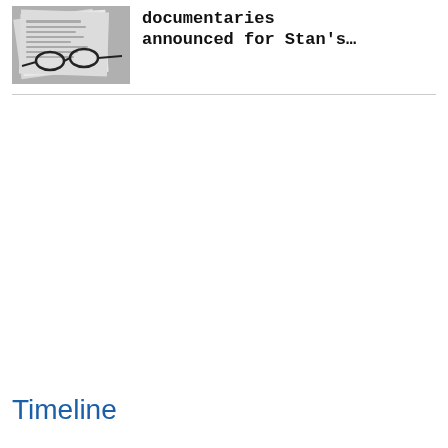[Figure (photo): Black and white photo of newspapers with glasses resting on top]
documentaries announced for Stan's…
Timeline